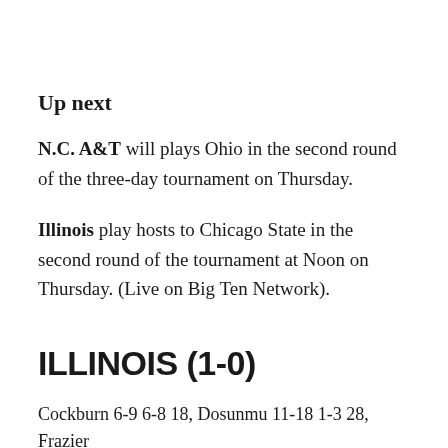Up next
N.C. A&T will plays Ohio in the second round of the three-day tournament on Thursday.
Illinois play hosts to Chicago State in the second round of the tournament at Noon on Thursday. (Live on Big Ten Network).
ILLINOIS (1-0)
Cockburn 6-9 6-8 18, Dosunmu 11-18 1-3 28, Frazier